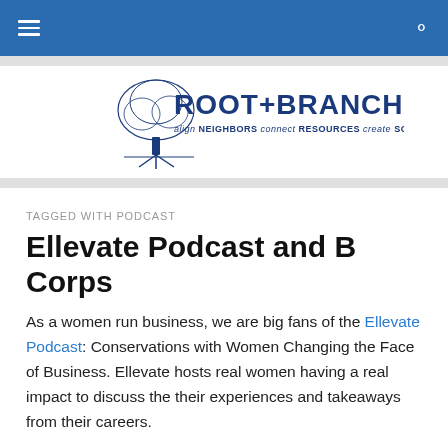Root+Branch navigation bar
[Figure (logo): Root+Branch logo with tree illustration. Text: ROOT+BRANCH align NEIGHBORS connect RESOURCES create SOLUTIONS]
TAGGED WITH PODCAST
Ellevate Podcast and B Corps
As a women run business, we are big fans of the Ellevate Podcast: Conservations with Women Changing the Face of Business. Ellevate hosts real women having a real impact to discuss the their experiences and takeaways from their careers.
We especially enjoyed this week's podcast discussing